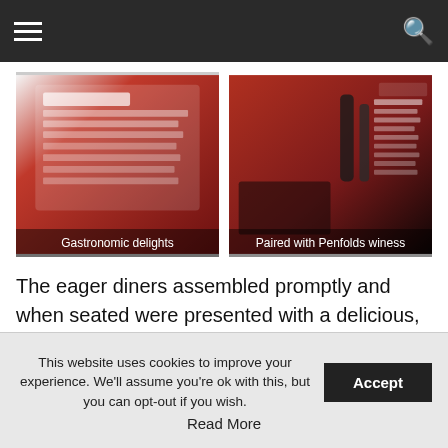Navigation bar with hamburger menu and search icon
[Figure (photo): Two wine menu / restaurant menu booklets photographed at an angle. Left image captioned 'Gastronomic delights', right image captioned 'Paired with Penfolds winess'.]
The eager diners assembled promptly and when seated were presented with a delicious, if not rather sweet premium sparkling wine Bellini that was accompanied by a range of beautifully prepared and flavourful canapés.
This website uses cookies to improve your experience. We'll assume you're ok with this, but you can opt-out if you wish. Accept
Read More